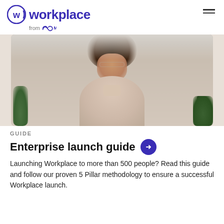workplace from Meta
[Figure (photo): Portrait of a woman with curly hair and glasses, wearing a light pink turtleneck sweater, arms crossed, with indoor plants in the background.]
GUIDE
Enterprise launch guide →
Launching Workplace to more than 500 people? Read this guide and follow our proven 5 Pillar methodology to ensure a successful Workplace launch.